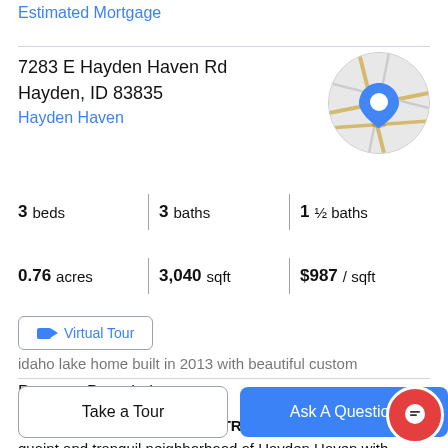Estimated Mortgage
7283 E Hayden Haven Rd
Hayden, ID 83835
Hayden Haven
[Figure (map): Circular map thumbnail showing location with blue pin marker]
3 beds | 3 baths | 1 ½ baths
0.76 acres | 3,040 sqft | $987 / sqft
Virtual Tour
Property Description
GORGEOUS HAYDEN LAKE TREASURE located in the quaint and tranquil neighborhood of Hayden Haven with
idaho lake home built in 2013 with beautiful custom
Take a Tour
Ask A Question